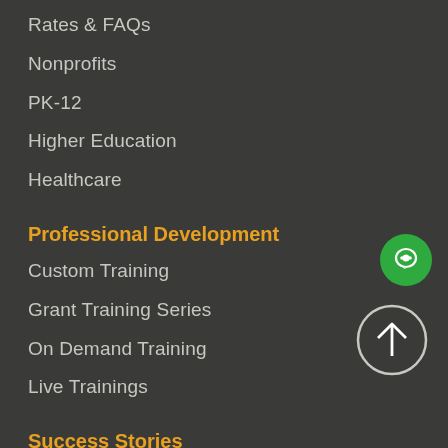Rates & FAQs
Nonprofits
PK-12
Higher Education
Healthcare
Professional Development
Custom Training
Grant Training Series
On Demand Training
Live Trainings
Success Stories
Grants in Action
Grants Funded
Testimonials
Blogs